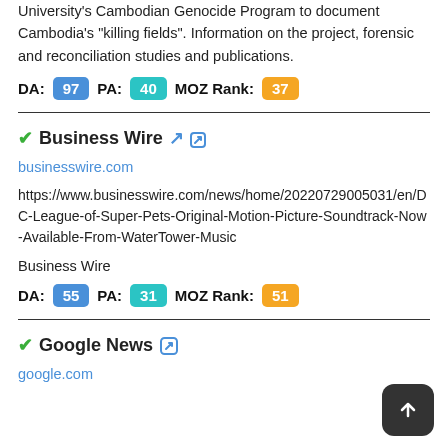University's Cambodian Genocide Program to document Cambodia's "killing fields". Information on the project, forensic and reconciliation studies and publications.
DA: 97 PA: 40 MOZ Rank: 37
Business Wire
businesswire.com
https://www.businesswire.com/news/home/20220729005031/en/DC-League-of-Super-Pets-Original-Motion-Picture-Soundtrack-Now-Available-From-WaterTower-Music
Business Wire
DA: 55 PA: 31 MOZ Rank: 51
Google News
google.com